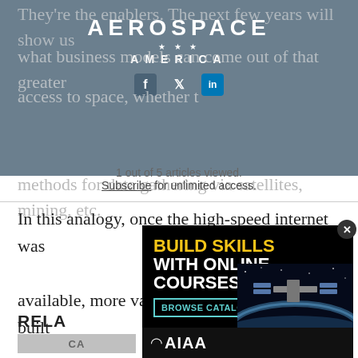AEROSPACE AMERICA
They're the enablers. The next few years will show us what business models can come out of that greater access to space, whether that's tourism, new methods for data gathering via satellites, mining, etc.
1 out of 5 articles viewed. Subscribe for unlimited access.
In this analogy, once the high-speed internet was available, more valuable companies could be built on top of it, like e-commerce, video streaming, and other things we didn't expect.
RELA[TED]
[Figure (screenshot): Advertisement overlay for AIAA online courses. Black background with yellow bold text 'BUILD SKILLS' and white text 'WITH ONLINE COURSES'. Cyan-bordered button reads 'BROWSE CATALOG >'. Bottom shows ISS image and AIAA logo on dark footer.]